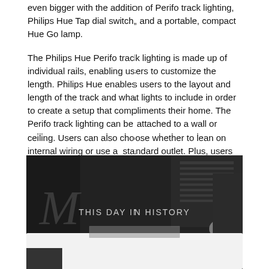even bigger with the addition of Perifo track lighting, Philips Hue Tap dial switch, and a portable, compact Hue Go lamp.
The Philips Hue Perifo track lighting is made up of individual rails, enabling users to customize the length. Philips Hue enables users to the layout and length of the track and what lights to include in order to create a setup that compliments their home. The Perifo track lighting can be attached to a wall or ceiling. Users can also choose whether to lean on internal wiring or use a standard outlet. Plus, users choose whether to use Hue spotlights, pendants, light bars, or light tubes in a single track.
[Figure (screenshot): A dark-themed screenshot showing a panel titled 'THIS DAY IN HISTORY' with a three-dot menu icon, a close button (x), and a white popup overlay at the bottom. Background shows dark grayscale imagery.]